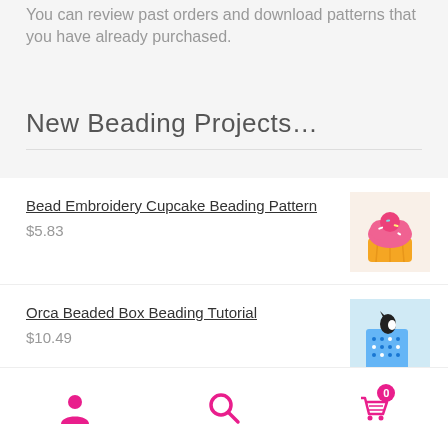You can review past orders and download patterns that you have already purchased.
New Beading Projects…
Bead Embroidery Cupcake Beading Pattern
$5.83
Orca Beaded Box Beading Tutorial
$10.49
Superdue Easter Chick Beaded Box Pattern
Navigation bar with user, search, and cart (0) icons